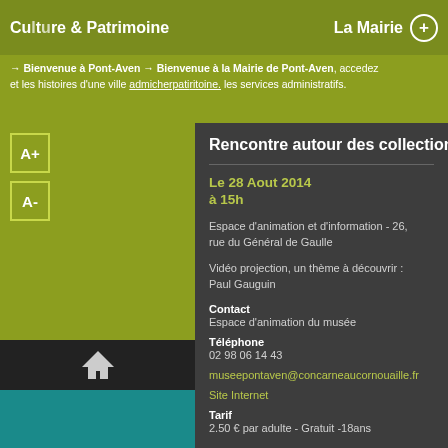Culture & Patrimoine    La Mairie +
Bienvenue à Pont-Aven Bienvenue à la Mairie de Pont-Aven, accedez et les histoires d'une ville admicherpatiritoine. les services administratifs.
Rencontre autour des collections du
Le 28 Aout 2014 à 15h
Espace d'animation et d'information - 26, rue du Général de Gaulle
Vidéo projection, un thème à découvrir : Paul Gauguin
Contact
Espace d'animation du musée
Téléphone
02 98 06 14 43
museepontaven@concarneaucornouaille.fr
Site Internet
Tarif
2.50 € par adulte - Gratuit -18ans